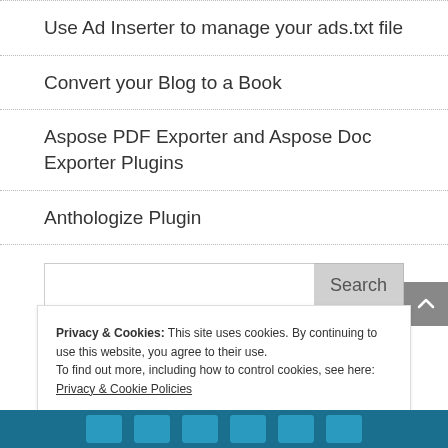Use Ad Inserter to manage your ads.txt file
Convert your Blog to a Book
Aspose PDF Exporter and Aspose Doc Exporter Plugins
Anthologize Plugin
Search
Privacy & Cookies: This site uses cookies. By continuing to use this website, you agree to their use.
To find out more, including how to control cookies, see here: Privacy & Cookie Policies
Close and accept